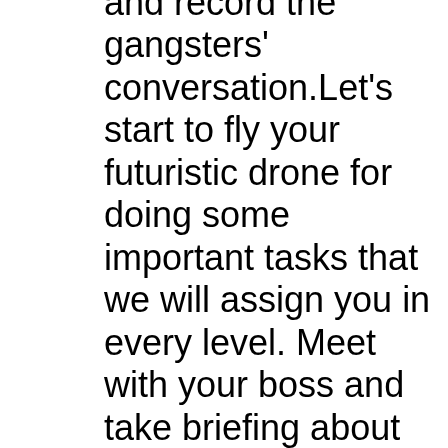and record the gangsters' conversation.Let's start to fly your futuristic drone for doing some important tasks that we will assign you in every level. Meet with your boss and take briefing about your consignment in drone games 2018. Enjoy to fly your real RC drone and take view with drone camera that gives you awesome pleasure in flying simulator. A multiple entertaining and dangerous tasks will be assigned you in drone flying games. So be careful during entering the enemy buildings and achieve your target successfully in drone games 2018. Fly your real RC drone on different flight games environment with fantastic city drone ranges in real drone simulator. Do some dramatic gangstar acts on different stages and